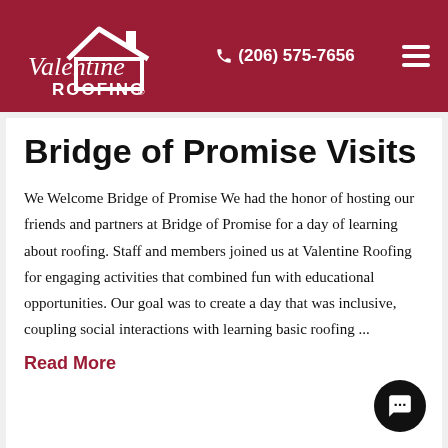Valentine Roofing — (206) 575-7656
Bridge of Promise Visits
We Welcome Bridge of Promise We had the honor of hosting our friends and partners at Bridge of Promise for a day of learning about roofing. Staff and members joined us at Valentine Roofing for engaging activities that combined fun with educational opportunities. Our goal was to create a day that was inclusive, coupling social interactions with learning basic roofing ...
Read More